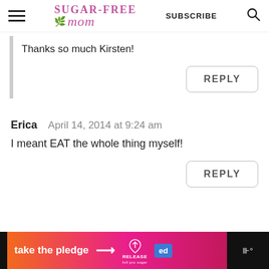Sugar-Free Mom — SUBSCRIBE
Thanks so much Kirsten!
REPLY
Erica   April 14, 2014 at 9:24 am
I meant EAT the whole thing myself!
REPLY
[Figure (infographic): Ad banner: take the pledge → RELEASE ed logo, on dark/orange-pink gradient background]